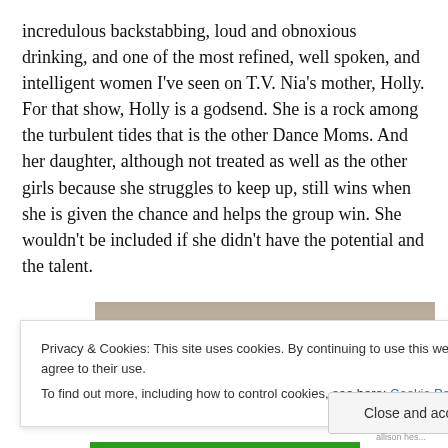incredulous backstabbing, loud and obnoxious drinking, and one of the most refined, well spoken, and intelligent women I've seen on T.V. Nia's mother, Holly. For that show, Holly is a godsend. She is a rock among the turbulent tides that is the other Dance Moms. And her daughter, although not treated as well as the other girls because she struggles to keep up, still wins when she is given the chance and helps the group win. She wouldn't be included if she didn't have the potential and the talent.
[Figure (photo): Partial photo of a person, cropped at the top of the page area]
Privacy & Cookies: This site uses cookies. By continuing to use this website, you agree to their use.
To find out more, including how to control cookies, see here: Cookie Policy
Close and accept